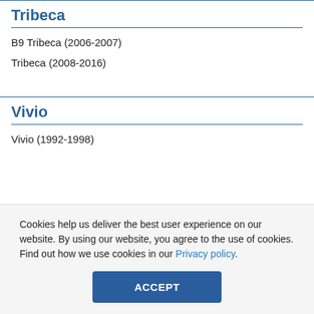Tribeca
B9 Tribeca (2006-2007)
Tribeca (2008-2016)
Vivio
Vivio (1992-1998)
Cookies help us deliver the best user experience on our website. By using our website, you agree to the use of cookies. Find out how we use cookies in our Privacy policy.